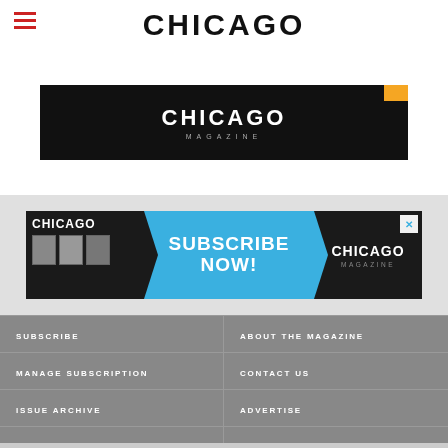CHICAGO
[Figure (logo): Chicago Magazine black banner logo with white text 'CHICAGO MAGAZINE']
[Figure (infographic): Chicago Magazine subscription ad banner: left dark section with magazine covers, center blue section with 'SUBSCRIBE NOW!', right dark section with CHICAGO MAGAZINE logo, X close button top right]
SUBSCRIBE
ABOUT THE MAGAZINE
MANAGE SUBSCRIPTION
CONTACT US
ISSUE ARCHIVE
ADVERTISE
PRIVACY POLICY
RESOURCE GUIDE
TERMS OF SERVICE
EVENTS